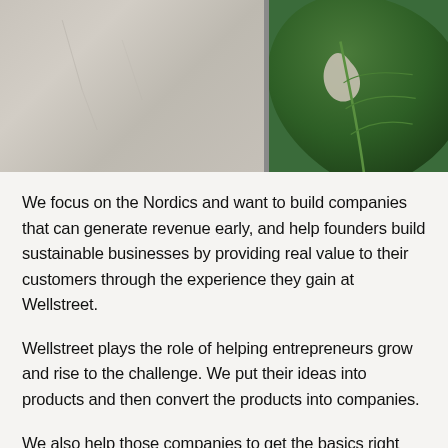[Figure (photo): Split image: left side shows a textured beige/grey wall; right side shows a large green monstera or tropical leaf against a light background, separated by a thin vertical divider.]
We focus on the Nordics and want to build companies that can generate revenue early, and help founders build sustainable businesses by providing real value to their customers through the experience they gain at Wellstreet.
Wellstreet plays the role of helping entrepreneurs grow and rise to the challenge. We put their ideas into products and then convert the products into companies.
We also help those companies to get the basics right and start earning money. We take great pride in the fact that Wellstreet Ventures-backed startups launch fast, have viable business models and earn money within their first year after launch. For those reasons, we help them get the most...